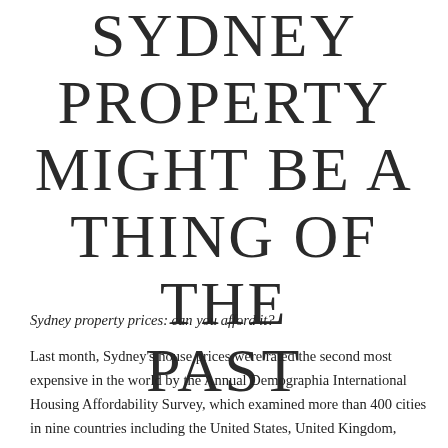SYDNEY PROPERTY MIGHT BE A THING OF THE PAST
Sydney property prices: can you afford it?
Last month, Sydney's house prices were rated the second most expensive in the world by the Annual Demographia International Housing Affordability Survey, which examined more than 400 cities in nine countries including the United States, United Kingdom,